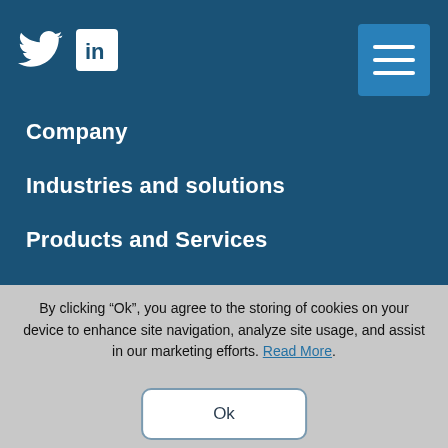[Figure (logo): Twitter bird icon (white) and LinkedIn icon (white text on white square with blue 'in')]
[Figure (other): Hamburger menu button (three white horizontal lines on blue square background)]
Company
Industries and solutions
Products and Services
News and blog
Investors
By clicking “Ok”, you agree to the storing of cookies on your device to enhance site navigation, analyze site usage, and assist in our marketing efforts. Read More.